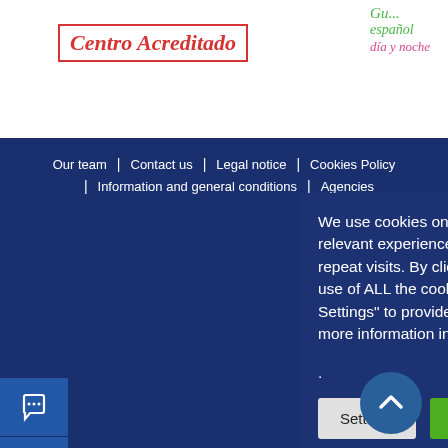[Figure (logo): Centro Acreditado red italic logo in a red border box]
[Figure (logo): Green and pink italic stamp text reading espanol dia y noche]
Our team | Contact us | Legal notice | Cookies Policy | Information and general conditions | Agencies
We use cookies on our website to give you the most relevant experience by remembering your preferences and repeat visits. By clicking "Accept All", you consent to the use of ALL the cookies. However, you may visit "Cookie Settings" to provide a controlled consent. You can obtain more information in our cookies policy .
Settings
Accept all